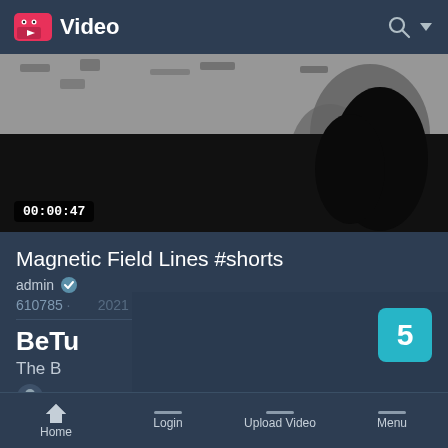Video
[Figure (screenshot): Video thumbnail showing a black and white image with a dark silhouette, timestamp 00:00:47]
Magnetic Field Lines #shorts
admin ✓
610785 ... 2021
BeTu
The B
Do Tri
[Figure (screenshot): Overlay panel with teal badge showing number 5 and red up-arrow button]
Home   Login   Upload Video   Menu